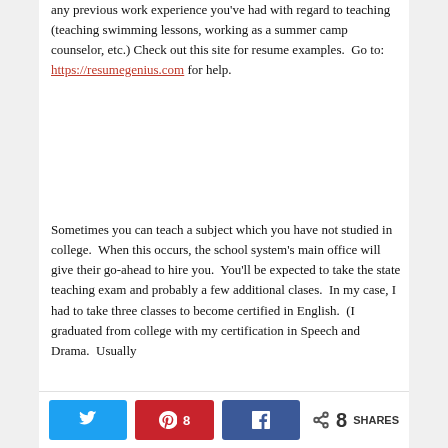any previous work experience you've had with regard to teaching (teaching swimming lessons, working as a summer camp counselor, etc.) Check out this site for resume examples.  Go to: https://resumegenius.com for help.
Sometimes you can teach a subject which you have not studied in college.  When this occurs, the school system's main office will give their go-ahead to hire you.  You'll be expected to take the state teaching exam and probably a few additional clases.  In my case, I had to take three classes to become certified in English.  (I graduated from college with my certification in Speech and Drama.  Usually
Twitter | Pinterest 8 | Facebook | Share 8 SHARES